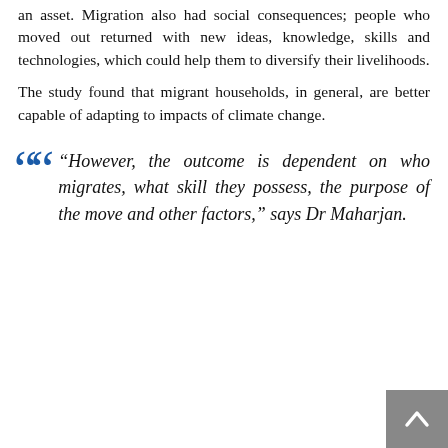an asset. Migration also had social consequences; people who moved out returned with new ideas, knowledge, skills and technologies, which could help them to diversify their livelihoods.
The study found that migrant households, in general, are better capable of adapting to impacts of climate change.
“However, the outcome is dependent on who migrates, what skill they possess, the purpose of the move and other factors,” says Dr Maharjan.